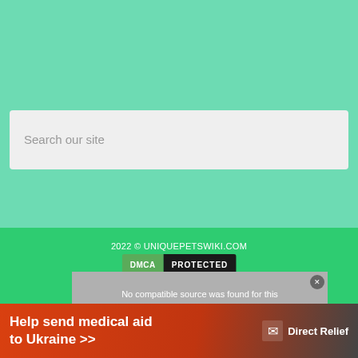[Figure (screenshot): Green mint-colored background section (top portion of a website)]
Search  our site
2022 © UNIQUEPETSWIKI.COM
[Figure (logo): DMCA PROTECTED badge — green left panel with 'DMCA', black right panel with 'PROTECTED']
No compatible source was found for this media.
[Figure (infographic): Orange/red advertisement banner: 'Help send medical aid to Ukraine >>' with Direct Relief logo]